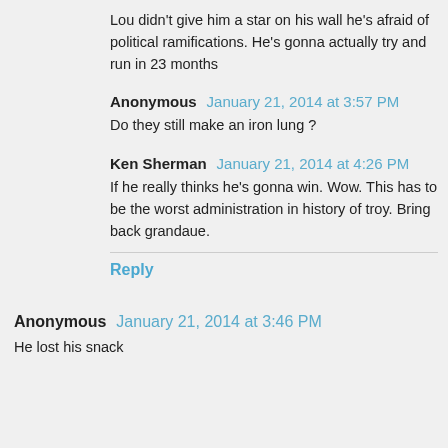Lou didn't give him a star on his wall he's afraid of political ramifications. He's gonna actually try and run in 23 months
Anonymous  January 21, 2014 at 3:57 PM
Do they still make an iron lung ?
Ken Sherman  January 21, 2014 at 4:26 PM
If he really thinks he's gonna win. Wow. This has to be the worst administration in history of troy. Bring back grandaue.
Reply
Anonymous  January 21, 2014 at 3:46 PM
He lost his snack